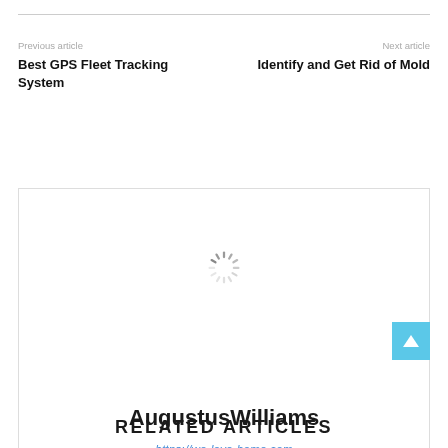Previous article
Next article
Best GPS Fleet Tracking System
Identify and Get Rid of Mold
[Figure (other): Author card with loading spinner, author name AugustusWilliams, and website URL https://we-love-home.com]
RELATED ARTICLES